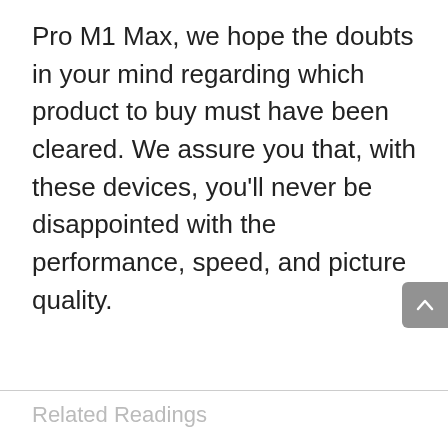Pro M1 Max, we hope the doubts in your mind regarding which product to buy must have been cleared. We assure you that, with these devices, you'll never be disappointed with the performance, speed, and picture quality.
Related Readings